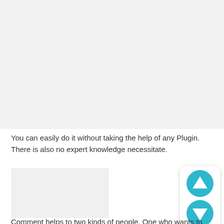[Figure (other): Gray area at top of page, likely a screenshot or image placeholder]
You can easily do it without taking the help of any Plugin. There is also no expert knowledge necessitate.
[Figure (photo): Gray image placeholder on the left]
[Figure (other): Scroll up/down widget with teal circular arrow buttons in a white rounded rectangle]
Comment helps to two kinds of people. One who wants to build